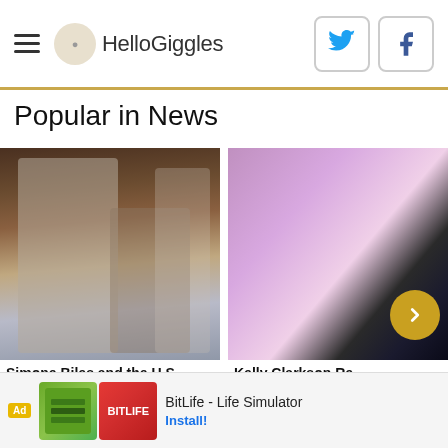HelloGiggles
Popular in News
[Figure (photo): Simone Biles and other U.S. gymnasts at a hearing]
Simone Biles and the U.S.
Sy...
[Figure (photo): Kelly Clarkson on a TV show set with golden arrow navigation button]
Kelly Clarkson Re...
Som...
Ad BitLife - Life Simulator Install!